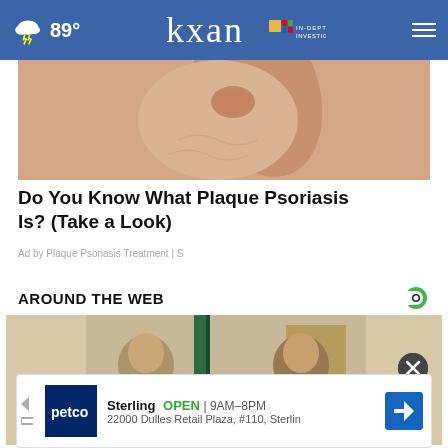89° kxan IN-DEPTH INVESTIGATIVE
[Figure (photo): Close-up photo of a thumb with skin condition (plaque psoriasis)]
Do You Know What Plaque Psoriasis Is? (Take a Look)
Ad by Plaque Psoriasis Treatment | S
AROUND THE WEB
[Figure (photo): Two men in suits standing in front of green flags in an ornate room]
[Figure (other): Petco advertisement banner: Sterling OPEN 9AM-8PM, 22000 Dulles Retail Plaza, #110, Sterling]